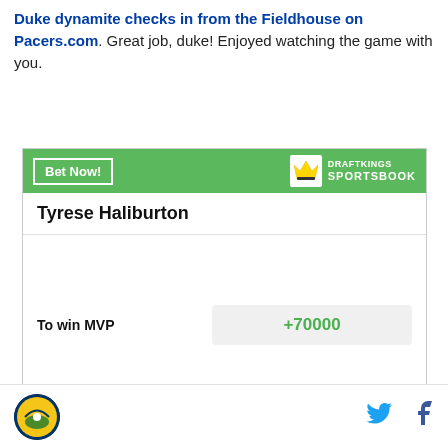Duke dynamite checks in from the Fieldhouse on Pacers.com. Great job, duke! Enjoyed watching the game with you.
[Figure (infographic): DraftKings Sportsbook betting widget showing Tyrese Haliburton odds to win MVP at +70000, with green header containing Bet Now! button and DraftKings Sportsbook logo]
Indiana Pacers logo, Twitter icon, Facebook icon